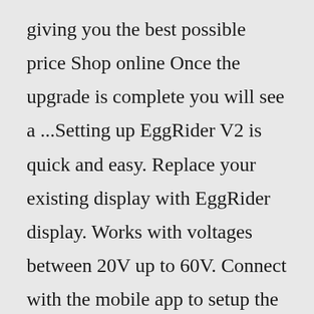giving you the best possible price Shop online Once the upgrade is complete you will see a ...Setting up EggRider V2 is quick and easy. Replace your existing display with EggRider display. Works with voltages between 20V up to 60V. Connect with the mobile app to setup the EggRider display. You can now also modify the settings of your motor. Enjoy the ride! Functionalities. Street and Off-Road switch changes riding